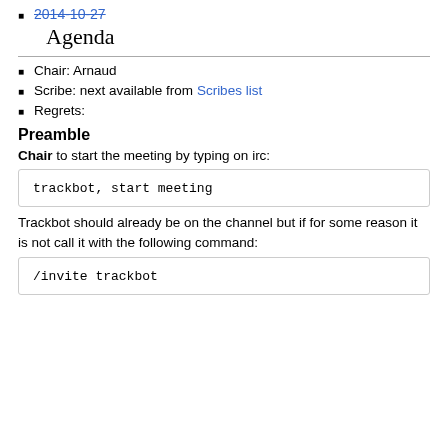2014-10-27
Agenda
Chair: Arnaud
Scribe: next available from Scribes list
Regrets:
Preamble
Chair to start the meeting by typing on irc:
trackbot, start meeting
Trackbot should already be on the channel but if for some reason it is not call it with the following command:
/invite trackbot